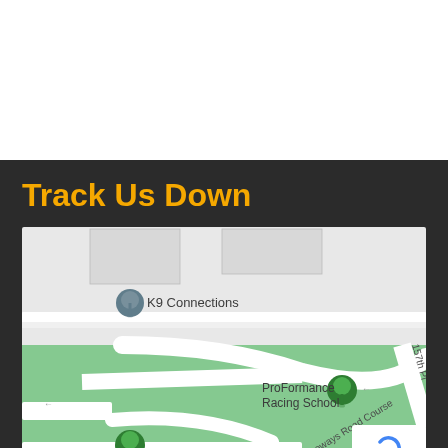Track Us Down
[Figure (map): Google Maps screenshot showing ProFormance Racing School and Pacific Raceways Pits location with road course paths, K9 Connections marker, and street labels including Pacific Raceways Road Course and 157th Pl.]